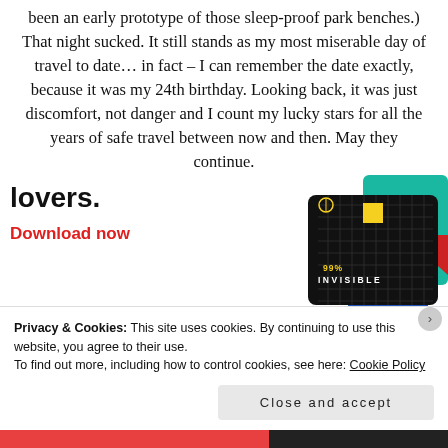been an early prototype of those sleep-proof park benches.) That night sucked. It still stands as my most miserable day of travel to date… in fact – I can remember the date exactly, because it was my 24th birthday. Looking back, it was just discomfort, not danger and I count my lucky stars for all the years of safe travel between now and then. May they continue.
[Figure (illustration): Advertisement banner showing 'lovers.' in bold black text, 'Download now' in red, and a podcast app graphic with '99% INVISIBLE' text on a dark card with yellow square logo, alongside green and red card images.]
Privacy & Cookies: This site uses cookies. By continuing to use this website, you agree to their use.
To find out more, including how to control cookies, see here: Cookie Policy
Close and accept